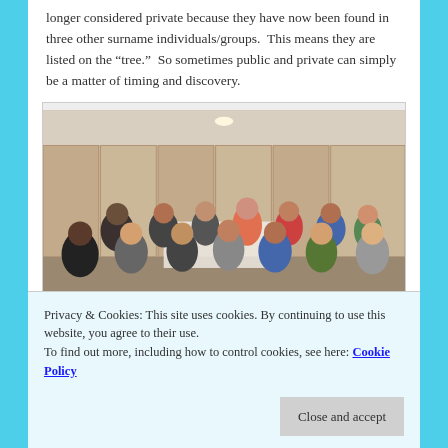longer considered private because they have now been found in three other surname individuals/groups.  This means they are listed on the “tree.”  So sometimes public and private can simply be a matter of timing and discovery.
[Figure (photo): A group of people sitting around tables in a conference or meeting room with beige paneled walls and overhead lighting. Many attendees visible, some in conversation.]
Privacy & Cookies: This site uses cookies. By continuing to use this website, you agree to their use.
To find out more, including how to control cookies, see here: Cookie Policy